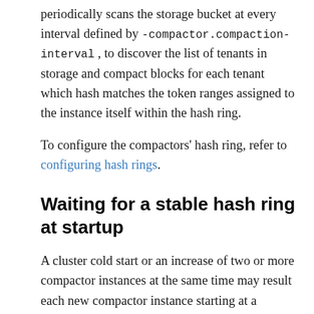periodically scans the storage bucket at every interval defined by -compactor.compaction-interval , to discover the list of tenants in storage and compact blocks for each tenant which hash matches the token ranges assigned to the instance itself within the hash ring.
To configure the compactors' hash ring, refer to configuring hash rings.
Waiting for a stable hash ring at startup
A cluster cold start or an increase of two or more compactor instances at the same time may result each new compactor instance starting at a slightly different time. Then, each compactor runs its first compaction based on a different state of the hash ring. This is not an error condition, but it may be